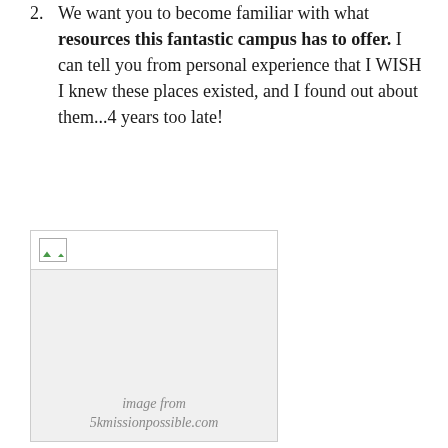2. We want you to become familiar with what resources this fantastic campus has to offer. I can tell you from personal experience that I WISH I knew these places existed, and I found out about them...4 years too late!
[Figure (photo): A broken/missing image placeholder with a grey background and a small broken image icon in the top-left corner.]
image from 5kmissionpossible.com